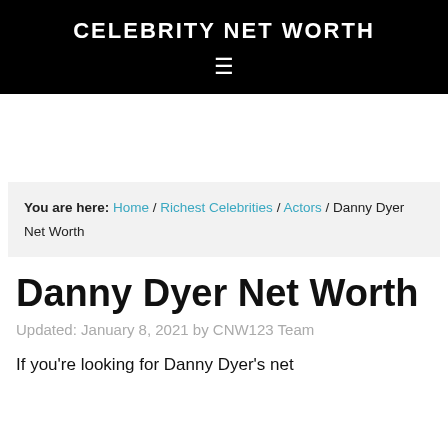CELEBRITY NET WORTH
You are here: Home / Richest Celebrities / Actors / Danny Dyer Net Worth
Danny Dyer Net Worth
Updated: January 8, 2021 by CNW123 Team
If you're looking for Danny Dyer's net